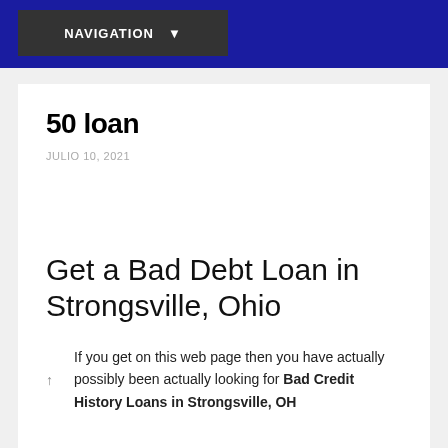NAVIGATION
50 loan
JULIO 10, 2021
Get a Bad Debt Loan in Strongsville, Ohio
If you get on this web page then you have actually possibly been actually looking for Bad Credit History Loans in Strongsville, OH